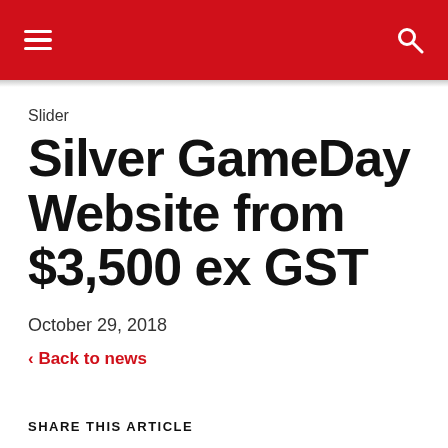≡  🔍
Slider
Silver GameDay Website from $3,500 ex GST
October 29, 2018
‹ Back to news
SHARE THIS ARTICLE